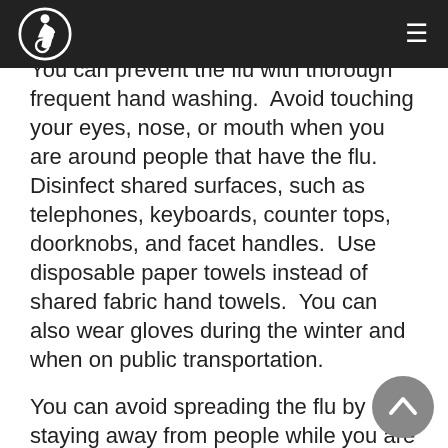You can prevent the flu with thorough frequent hand washing.  Avoid touching your eyes, nose, or mouth when you are around people that have the flu.  Disinfect shared surfaces, such as telephones, keyboards, counter tops, doorknobs, and facet handles.  Use disposable paper towels instead of shared fabric hand towels.  You can also wear gloves during the winter and when on public transportation.
You can avoid spreading the flu by staying away from people while you are contagious.  Cough or sneeze into a